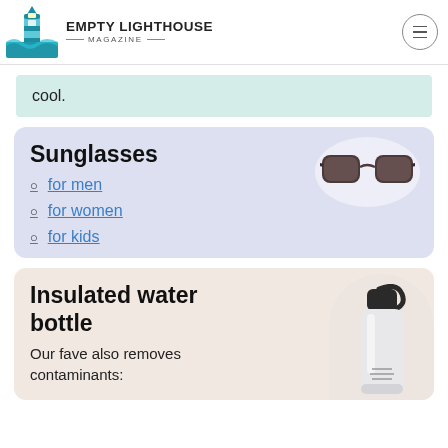EMPTY LIGHTHOUSE MAGAZINE
cool.
Sunglasses
for men
for women
for kids
[Figure (photo): Black sunglasses on a light oval background]
Insulated water bottle
Our fave also removes contaminants:
[Figure (photo): White insulated water bottle with black cap]